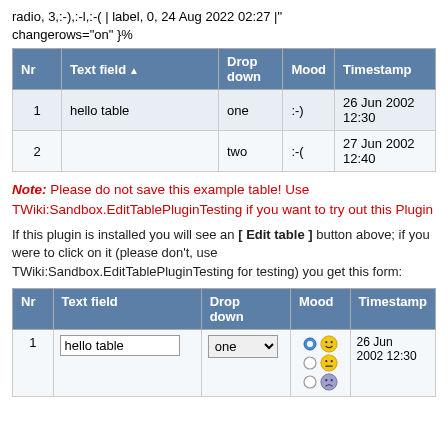radio, 3,:-),:-l,:-( | label, 0, 24 Aug 2022 02:27 |" changerows="on" }%
| Nr | Text field ▲ | Drop down | Mood | Timestamp |
| --- | --- | --- | --- | --- |
| 1 | hello table | one | :-) | 26 Jun 2002 12:30 |
| 2 |  | two | :-( | 27 Jun 2002 12:40 |
Note: Please do not save this example table! Use TWiki:Sandbox.EditTablePluginTesting if you want to try out this Plugin
If this plugin is installed you will see an [ Edit table ] button above; if you were to click on it (please don't, use TWiki:Sandbox.EditTablePluginTesting for testing) you get this form:
| Nr | Text field | Drop down | Mood | Timestamp |
| --- | --- | --- | --- | --- |
| 1 | hello table | one | [radio+smiley icons] | 26 Jun 2002 12:30 |